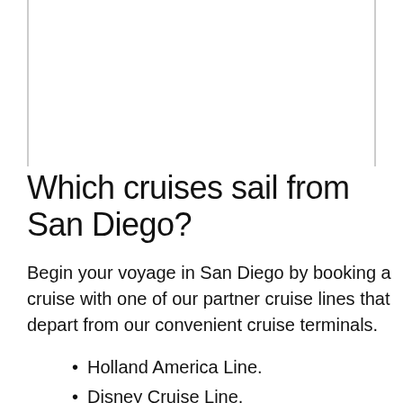[Figure (photo): White/blank image area at the top of the page with vertical border lines on left and right sides]
Which cruises sail from San Diego?
Begin your voyage in San Diego by booking a cruise with one of our partner cruise lines that depart from our convenient cruise terminals.
Holland America Line.
Disney Cruise Line.